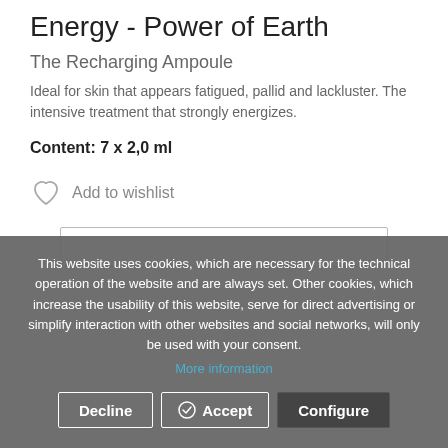Energy - Power of Earth
The Recharging Ampoule
Ideal for skin that appears fatigued, pallid and lackluster. The intensive treatment that strongly energizes.
Content: 7 x 2,0 ml
Add to wishlist
This website uses cookies, which are necessary for the technical operation of the website and are always set. Other cookies, which increase the usability of this website, serve for direct advertising or simplify interaction with other websites and social networks, will only be used with your consent.
More information
Decline  Accept  Configure